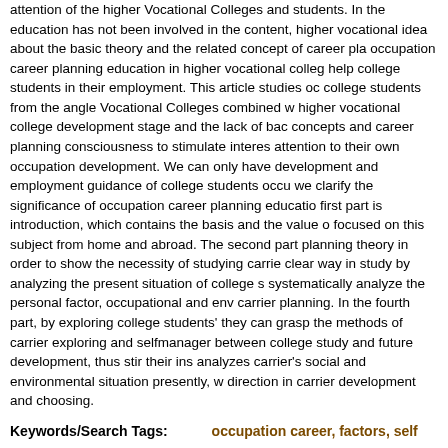attention of the higher Vocational Colleges and students. In the education has not been involved in the content, higher vocational idea about the basic theory and the related concept of career pla occupation career planning education in higher vocational colleg help college students in their employment. This article studies oc college students from the angle Vocational Colleges combined w higher vocational college development stage and the lack of bac concepts and career planning consciousness to stimulate interes attention to their own occupation development. We can only have development and employment guidance of college students occu we clarify the significance of occupation career planning educatio first part is introduction, which contains the basis and the value o focused on this subject from home and abroad. The second part planning theory in order to show the necessity of studying carrie clear way in study by analyzing the present situation of college s systematically analyze the personal factor, occupational and env carrier planning. In the fourth part, by exploring college students' they can grasp the methods of carrier exploring and selfmanager between college study and future development, thus stir their ins analyzes carrier's social and environmental situation presently, w direction in carrier development and choosing.
Keywords/Search Tags: occupation career, factors, self
PDF Full Text Request
Related items